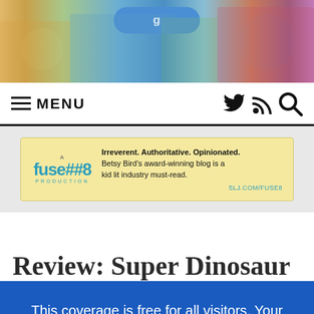[Figure (illustration): Colorful illustrated banner showing children and characters in a collage style, with a blue rounded button at the top center]
≡ MENU  [twitter icon] [rss icon] [search icon]
[Figure (infographic): Advertisement for Fuse #8 Production blog. Yellow background box with teal Fuse #8 logo on left. Text: Irreverent. Authoritative. Opinionated. Betsy Bird's award-winning blog is a kid lit industry must-read. SLJ.COM/FUSE8]
Review: Super Dinosaur
This coverage is free for all visitors. Your support makes this possible.
SUBSCRIBE